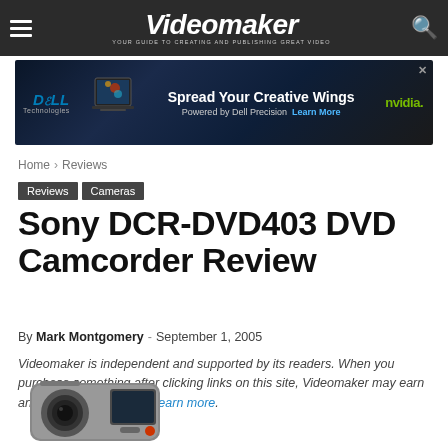Videomaker – YOUR GUIDE TO CREATING AND PUBLISHING GREAT VIDEO
[Figure (other): Dell Technologies advertisement banner – Spread Your Creative Wings, Powered by Dell Precision. Learn More. NVIDIA logo.]
Home › Reviews
Reviews  Cameras
Sony DCR-DVD403 DVD Camcorder Review
By Mark Montgomery - September 1, 2005
Videomaker is independent and supported by its readers. When you purchase something after clicking links on this site, Videomaker may earn an affiliate commission. Learn more.
[Figure (photo): Sony DCR-DVD403 DVD camcorder, silver and black, shown at an angle from the front-left.]